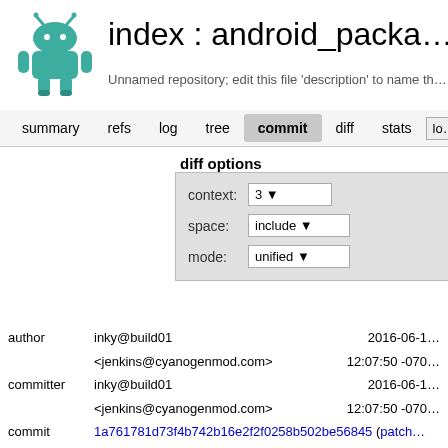index : android_package
Unnamed repository; edit this file 'description' to name th
summary   refs   log   tree   commit   diff   stats   lo
diff options
| context: | 3 |
| space: | include |
| mode: | unified |
| author | inky@build01 | 2016-06-1 |
|  | <jenkins@cyanogenmod.com> | 12:07:50 -070 |
| committer | inky@build01 | 2016-06-1 |
|  | <jenkins@cyanogenmod.com> | 12:07:50 -070 |
| commit | 1a761781d73f4b742b16e2f2f0258b502be56845 (patch |
| tree | a21bed6df81fd3b9f39c0b29eeed561c2dbb203b |
| parent | 91c6759a02be2a8afe411cc656a3bcab554415dc (diff) |
| download | android_packages_apps_PackageInstaller- |